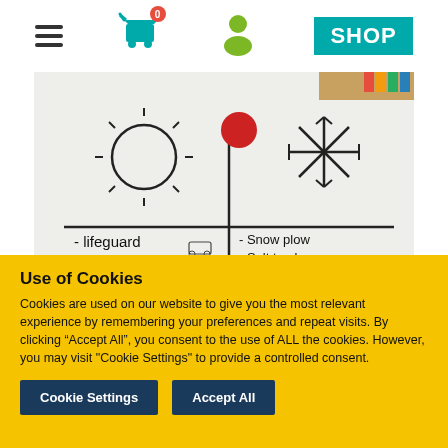[Figure (screenshot): Website navigation bar with hamburger menu, shopping cart with badge showing 0, user profile icon, and teal SHOP button]
[Figure (photo): Photo of a whiteboard drawing showing a T-chart comparing summer and winter jobs. Left side shows a sun drawing with text: -lifeguard, -Landscaper. Right side shows a snowflake drawing with text: -Snow plow, -Salt trucker, -Santa & Mrs Claus. A red circle/balloon is visible near the top center.]
Use of Cookies
Cookies are used on our website to give you the most relevant experience by remembering your preferences and repeat visits. By clicking “Accept All”, you consent to the use of ALL the cookies. However, you may visit "Cookie Settings" to provide a controlled consent.
Cookie Settings
Accept All